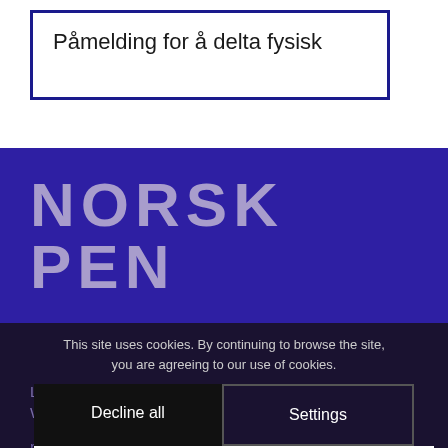Påmelding for å delta fysisk
[Figure (logo): Norsk PEN logo in light purple/lavender text on dark blue/purple background, showing 'NORSK' on first line and 'PEN' on second line in bold uppercase letters]
This site uses cookies. By continuing to browse the site, you are agreeing to our use of cookies.
Decline all
Settings
Accept all
Littera...
Wergelandsve... ...0
pen@norskpen.no